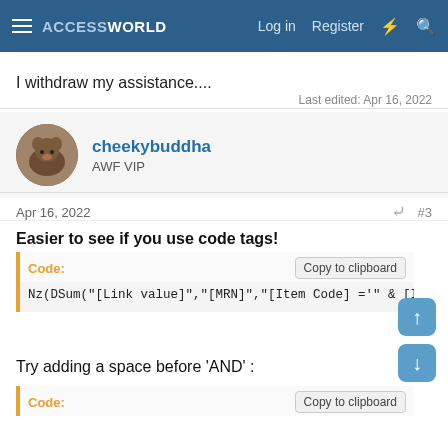ACCESSWORLD — Log in  Register
I withdraw my assistance....
Last edited: Apr 16, 2022
cheekybuddha
AWF VIP
Apr 16, 2022  #3
Easier to see if you use code tags!
Code:
Nz(DSum("[Link value]","[MRN]","[Item Code] ='" & [It
Try adding a space before 'AND' :
Code: